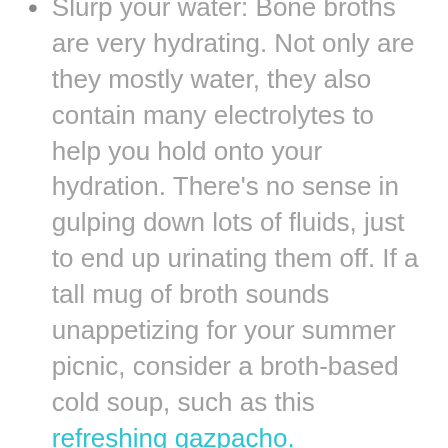Slurp your water: Bone broths are very hydrating. Not only are they mostly water, they also contain many electrolytes to help you hold onto your hydration. There's no sense in gulping down lots of fluids, just to end up urinating them off. If a tall mug of broth sounds unappetizing for your summer picnic, consider a broth-based cold soup, such as this refreshing gazpacho.
Crunch your water: High water content foods, such as melons, leafy greens, and cucumbers are perfect for slaking your thirst and hydrating your body. As a bonus, they require no cooking! An entree such as